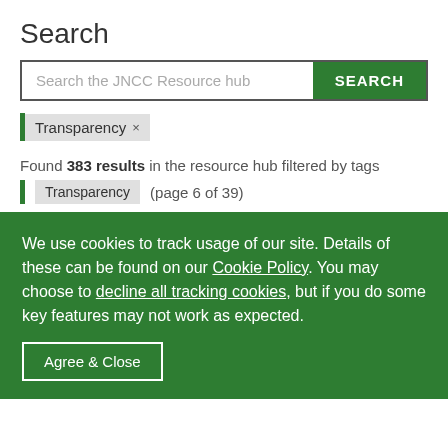Search
Search the JNCC Resource hub [SEARCH button]
Transparency ×
Found 383 results in the resource hub filtered by tags Transparency (page 6 of 39)
We use cookies to track usage of our site. Details of these can be found on our Cookie Policy. You may choose to decline all tracking cookies, but if you do some key features may not work as expected.
Agree & Close